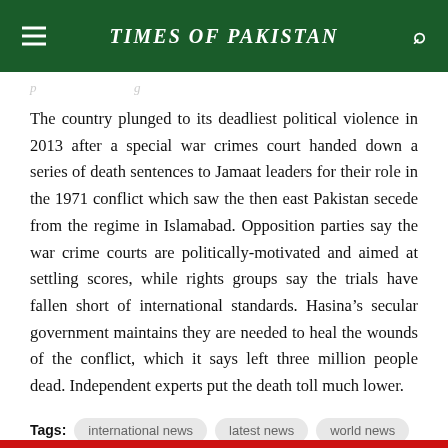TIMES OF PAKISTAN
The country plunged to its deadliest political violence in 2013 after a special war crimes court handed down a series of death sentences to Jamaat leaders for their role in the 1971 conflict which saw the then east Pakistan secede from the regime in Islamabad. Opposition parties say the war crime courts are politically-motivated and aimed at settling scores, while rights groups say the trials have fallen short of international standards. Hasina’s secular government maintains they are needed to heal the wounds of the conflict, which it says left three million people dead. Independent experts put the death toll much lower.
Tags: international news   latest news   world news